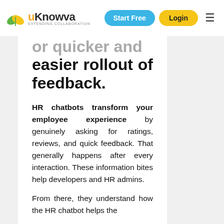uKnowva | Start Free | Login
or quicker and easier rollout of feedback.
HR chatbots transform your employee experience by genuinely asking for ratings, reviews, and quick feedback. That generally happens after every interaction. These information bites help developers and HR admins.
From there, they understand how the HR chatbot helps the